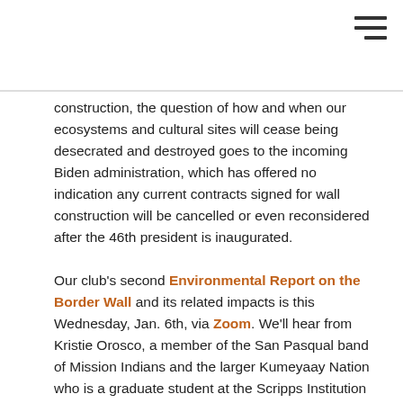construction, the question of how and when our ecosystems and cultural sites will cease being desecrated and destroyed goes to the incoming Biden administration, which has offered no indication any current contracts signed for wall construction will be cancelled or even reconsidered after the 46th president is inaugurated.
Our club's second Environmental Report on the Border Wall and its related impacts is this Wednesday, Jan. 6th, via Zoom. We'll hear from Kristie Orosco, a member of the San Pasqual band of Mission Indians and the larger Kumeyaay Nation who is a graduate student at the Scripps Institution of Oceanography, and a guest lecturer at USD, San Diego State, and Cal State San Marcos. Kristie will discuss the native biodiversity at stake along our borderlands with the wall's ongoing construction, and the Trump administration's outright dismissal of environmental requirements and